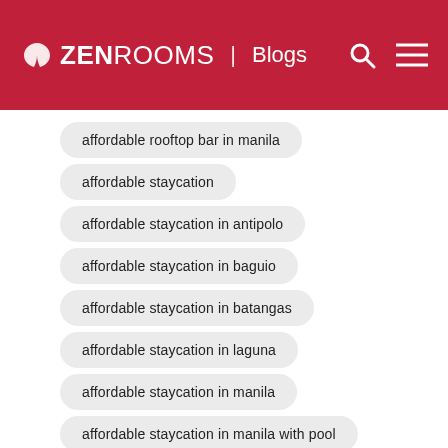ZEN ROOMS | Blogs
affordable rooftop bar in manila
affordable staycation
affordable staycation in antipolo
affordable staycation in baguio
affordable staycation in batangas
affordable staycation in laguna
affordable staycation in manila
affordable staycation in manila with pool